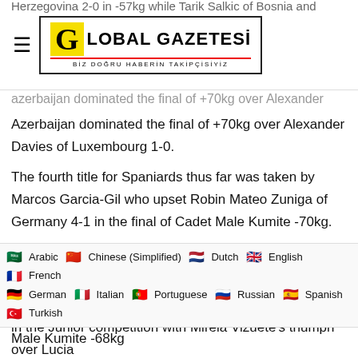Global Gazetesi — Biz Doğru Haberin Takipçisiyiz
Herzegovina 2-0 in -57kg while Tarik Salkic of Bosnia and
azerbaijan dominated the final of +70kg over Alexander Davies of Luxembourg 1-0.
The fourth title for Spaniards thus far was taken by Marcos Garcia-Gil who upset Robin Mateo Zuniga of Germany 4-1 in the final of Cadet Male Kumite -70kg.
TWO MORE GOLDS FOR SPAIN IN JUNIOR CATEGORIES
Big winners of Spain increased their gold medal count in the Junior competition with Mireia Vizuete's triumph over Lucia
Arabic  Chinese (Simplified)  Dutch  English  French  German  Italian  Portuguese  Russian  Spanish  Turkish
Male Kumite -68kg